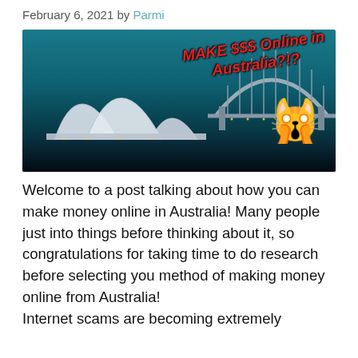February 6, 2021 by Parmi
[Figure (photo): Night photo of Sydney Opera House and Harbour Bridge with text overlay 'MAKE $$$ Online in Australia?!?' and a surprised cat emoji]
Welcome to a post talking about how you can make money online in Australia! Many people just into things before thinking about it, so congratulations for taking time to do research before selecting you method of making money online from Australia! Internet scams are becoming extremely